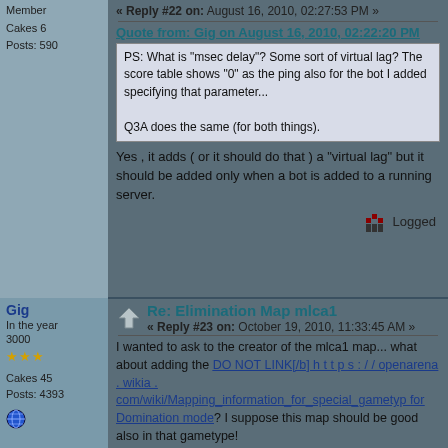Member
« Reply #22 on: August 16, 2010, 02:27:53 PM »
Cakes 6
Posts: 590
Quote from: Gig on August 16, 2010, 02:22:20 PM
PS: What is "msec delay"? Some sort of virtual lag? The score table shows "0" as the ping also for the bot I added specifying that parameter...

Q3A does the same (for both things).
Yes , it adds ( or it should do that ) a "virtual lag" but it should be added only when a bot is added to a running server.
Logged
Gig
In the year 3000
Re: Elimination Map mlca1
« Reply #23 on: October 19, 2010, 11:33:45 AM »
Cakes 45
Posts: 4393
I wanted to ask to the creator of the mlca1 map... what about adding the DO NOT LINK[/b] h t t p s : / / openarena . wikia . com/wiki/Mapping_information_for_special_gametyp for Domination mode? I suppose this map should be good also in that gametype!
Also adding the location names (I don't know exacly how they are called, maybe target_locations?) to the map, being it mainly meant for team-based